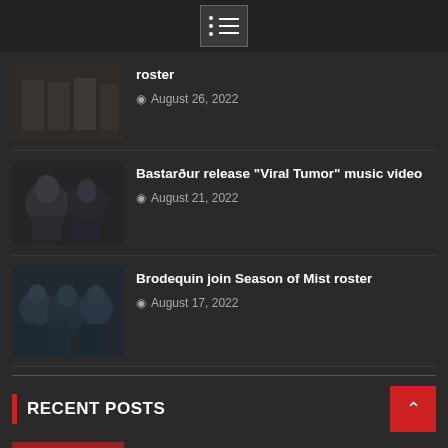menu icon
roster — August 26, 2022
Bastarður release "Viral Tumor" music video — August 21, 2022
Brodequin join Season of Mist roster — August 17, 2022
RECENT POSTS
Bad Omens embarking on N. American